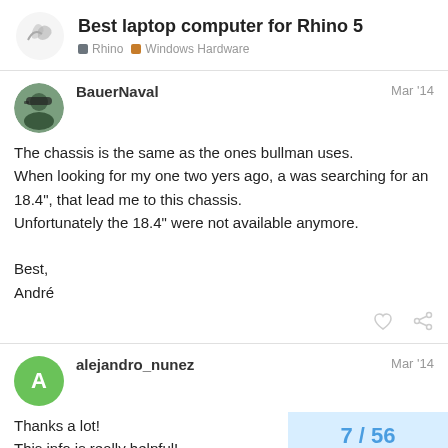Best laptop computer for Rhino 5 | Rhino | Windows Hardware
BauerNaval
Mar '14
The chassis is the same as the ones bullman uses.
When looking for my one two yers ago, a was searching for an 18.4", that lead me to this chassis.
Unfortunately the 18.4" were not available anymore.

Best,
André
alejandro_nunez
Mar '14
Thanks a lot!
This info is really helpful!